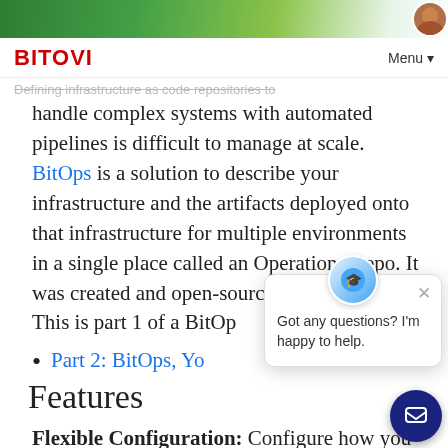BITOVI  Menu
Defining infrastructure as code repositories to handle complex systems with automated pipelines is difficult to manage at scale. BitOps is a solution to describe your infrastructure and the artifacts deployed onto that infrastructure for multiple environments in a single place called an Operations Repo. It was created and open-sourced by Bitovi.
This is part 1 of a BitOp...
Part 2: BitOps, Yo...
Features
Flexible Configuration: Configure how you want